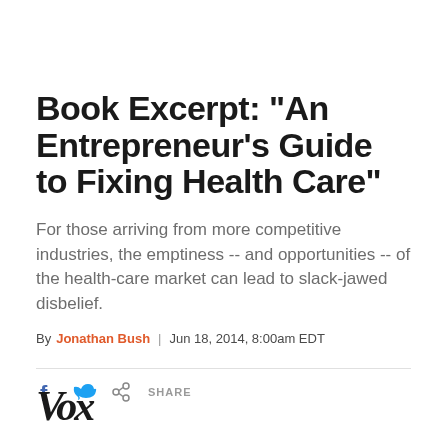Book Excerpt: "An Entrepreneur's Guide to Fixing Health Care"
For those arriving from more competitive industries, the emptiness -- and opportunities -- of the health-care market can lead to slack-jawed disbelief.
By Jonathan Bush | Jun 18, 2014, 8:00am EDT
[Figure (other): Social share icons: Facebook, Twitter, share button with SHARE label]
Vox